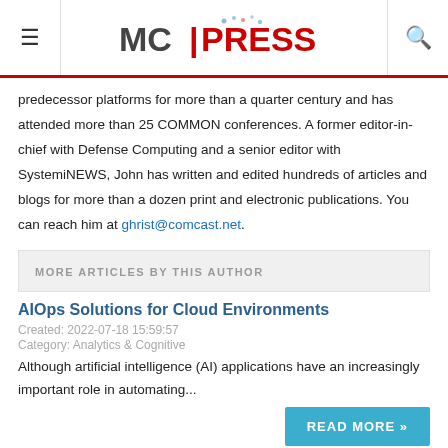≡  MC|PRESS  🔍
predecessor platforms for more than a quarter century and has attended more than 25 COMMON conferences. A former editor-in-chief with Defense Computing and a senior editor with SystemiNEWS, John has written and edited hundreds of articles and blogs for more than a dozen print and electronic publications. You can reach him at ghrist@comcast.net.
MORE ARTICLES BY THIS AUTHOR
AIOps Solutions for Cloud Environments
Created: 2022-07-18 15:59:57
Category: Analytics & Cognitive
Although artificial intelligence (AI) applications have an increasingly important role in automating...
READ MORE »
AI Apps That Control Corporate Computer Ops